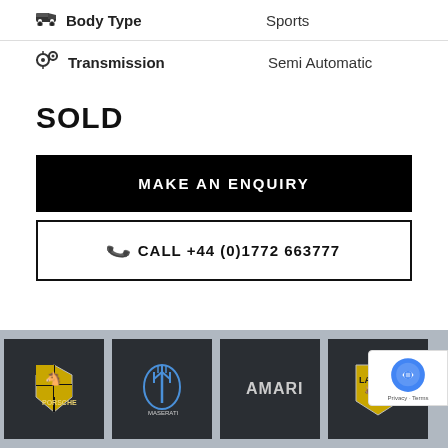Body Type   Sports
Transmission   Semi Automatic
SOLD
MAKE AN ENQUIRY
CALL +44 (0)1772 663777
[Figure (logo): Row of car brand logos: Porsche, Maserati, Amari, Lamborghini]
Privacy · Terms